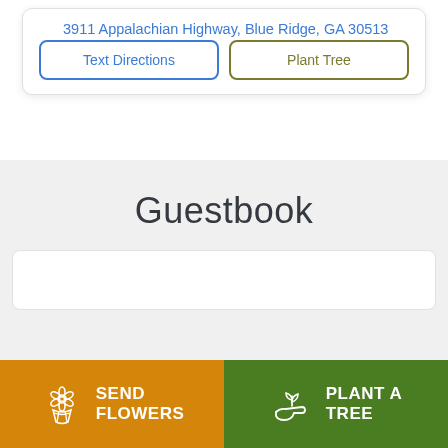3911 Appalachian Highway, Blue Ridge, GA 30513
Text Directions
Plant Tree
Guestbook
SEND FLOWERS
PLANT A TREE